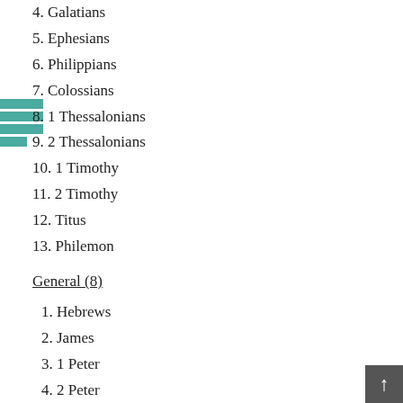4. Galatians
5. Ephesians
6. Philippians
7. Colossians
8. 1 Thessalonians
9. 2 Thessalonians
10. 1 Timothy
11. 2 Timothy
12. Titus
13. Philemon
General (8)
1. Hebrews
2. James
3. 1 Peter
4. 2 Peter
5. 1 John
6. 2 John
7. John
8. Jude